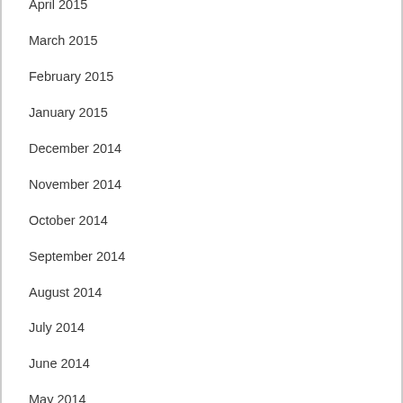April 2015
March 2015
February 2015
January 2015
December 2014
November 2014
October 2014
September 2014
August 2014
July 2014
June 2014
May 2014
April 2014